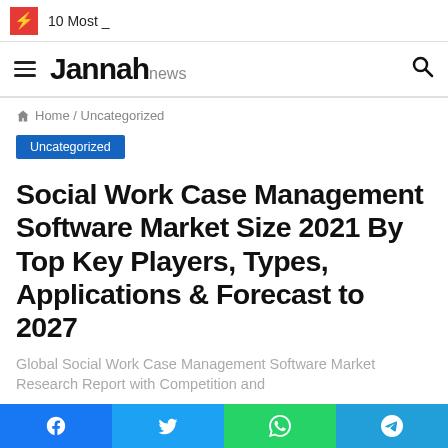⚡ 10 Most _
≡ Jannah news 🔍
🏠 Home / Uncategorized
Uncategorized
Social Work Case Management Software Market Size 2021 By Top Key Players, Types, Applications & Forecast to 2027
Global Social Work Case Management Software Market Research Report with Competition and...